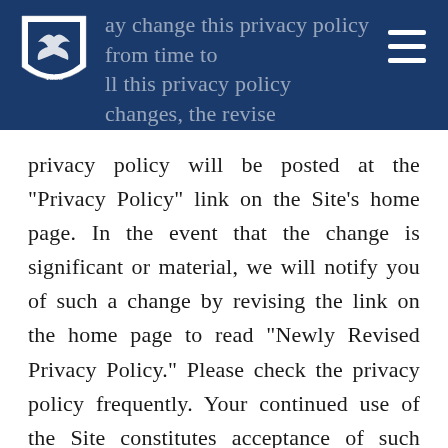may change this privacy policy from time to time. If this privacy policy changes, the revised privacy policy will be posted at the "Privacy Policy" link on the Site's home page.
privacy policy will be posted at the "Privacy Policy" link on the Site's home page. In the event that the change is significant or material, we will notify you of such a change by revising the link on the home page to read "Newly Revised Privacy Policy." Please check the privacy policy frequently. Your continued use of the Site constitutes acceptance of such changes in the privacy policy, except where further steps are required by applicable law. This privacy policy was last updated on the date set out at the end of the policy.